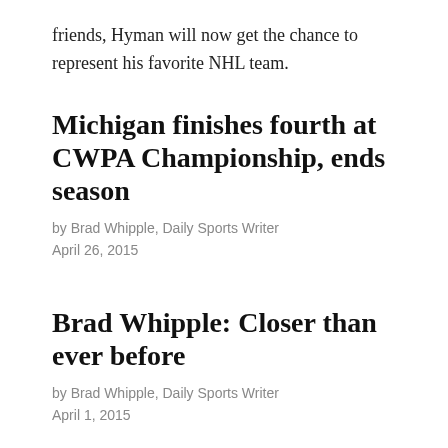friends, Hyman will now get the chance to represent his favorite NHL team.
Michigan finishes fourth at CWPA Championship, ends season
by Brad Whipple, Daily Sports Writer
April 26, 2015
Brad Whipple: Closer than ever before
by Brad Whipple, Daily Sports Writer
April 1, 2015